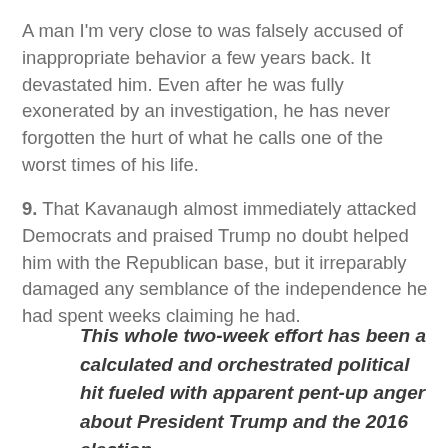A man I'm very close to was falsely accused of inappropriate behavior a few years back. It devastated him. Even after he was fully exonerated by an investigation, he has never forgotten the hurt of what he calls one of the worst times of his life.
9. That Kavanaugh almost immediately attacked Democrats and praised Trump no doubt helped him with the Republican base, but it irreparably damaged any semblance of the independence he had spent weeks claiming he had.
This whole two-week effort has been a calculated and orchestrated political hit fueled with apparent pent-up anger about President Trump and the 2016 election,